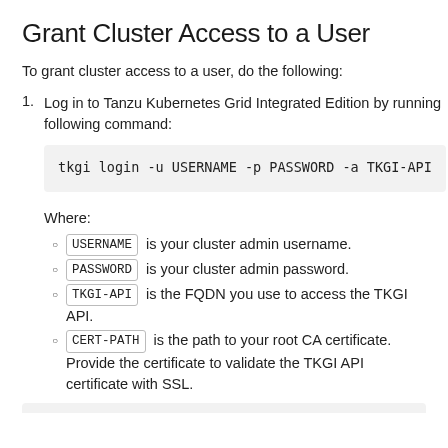Grant Cluster Access to a User
To grant cluster access to a user, do the following:
1. Log in to Tanzu Kubernetes Grid Integrated Edition by running following command:
tkgi login -u USERNAME -p PASSWORD -a TKGI-API
Where:
USERNAME  is your cluster admin username.
PASSWORD  is your cluster admin password.
TKGI-API  is the FQDN you use to access the TKGI API.
CERT-PATH  is the path to your root CA certificate. Provide the certificate to validate the TKGI API certificate with SSL.